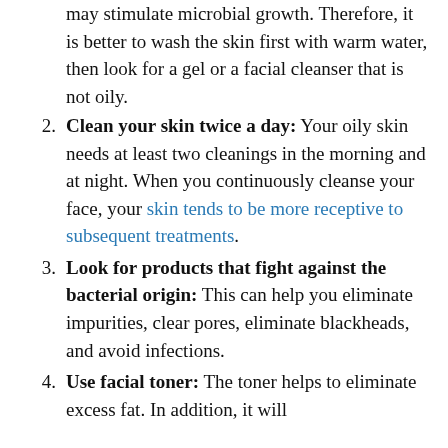may stimulate microbial growth. Therefore, it is better to wash the skin first with warm water, then look for a gel or a facial cleanser that is not oily.
2. Clean your skin twice a day: Your oily skin needs at least two cleanings in the morning and at night. When you continuously cleanse your face, your skin tends to be more receptive to subsequent treatments.
3. Look for products that fight against the bacterial origin: This can help you eliminate impurities, clear pores, eliminate blackheads, and avoid infections.
4. Use facial toner: The toner helps to eliminate excess fat. In addition, it will